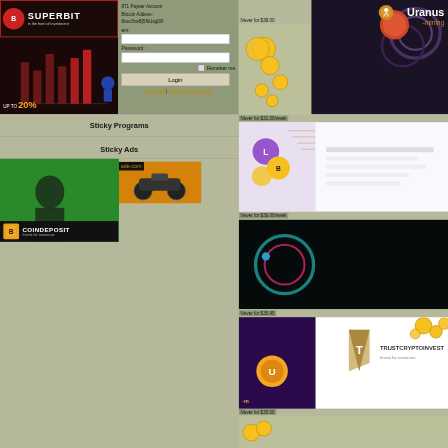[Figure (screenshot): Superbit investment platform logo — red circle with B icon, white SUPERBIT text, tagline 'in the front of investment']
[Figure (screenshot): Dark background with crypto chart imagery and 'UP TO 20%' text in white and orange]
[Figure (screenshot): Login form with Payeer Account and Bitcoin Address fields, Password field, Remember me checkbox, Login button, Sign Up and Forgot Password links]
Sticky Programs
Sticky Ads
[Figure (screenshot): AFTER 1 HOUR green advertisement banner with man's face]
[Figure (logo): COINDEPOSIT — Invest for tomorrow, dark background with orange Bitcoin icon]
[Figure (screenshot): Right side: cryptocurrency advertisement banners including Uranus Mining, crypto token ads, Conice, Uranus Mining again, and TrustCryptoInvest]
Never for $38.00
Never for $31.00/week
Never for $36.00/week
Never for $35.95
Never for $35.00